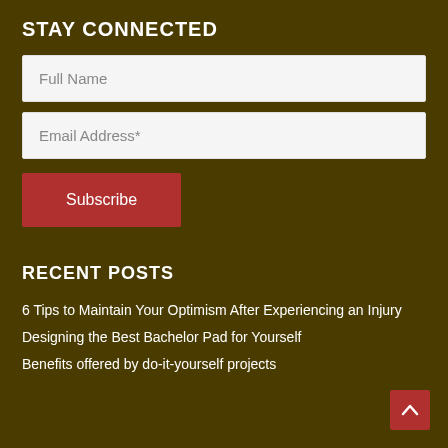STAY CONNECTED
Full Name
Email Address*
Subscribe
RECENT POSTS
6 Tips to Maintain Your Optimism After Experiencing an Injury
Designing the Best Bachelor Pad for Yourself
Benefits offered by do-it-yourself projects